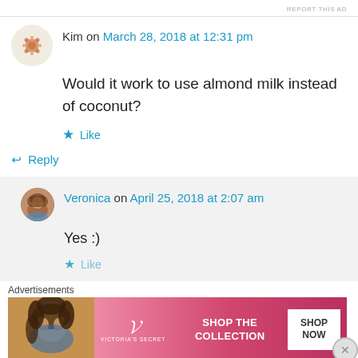REPORT THIS AD
Kim on March 28, 2018 at 12:31 pm
Would it work to use almond milk instead of coconut?
Like
Reply
Veronica on April 25, 2018 at 2:07 am
Yes :)
Like
Advertisements
[Figure (photo): Victoria's Secret advertisement banner showing a model and text SHOP THE COLLECTION with SHOP NOW button]